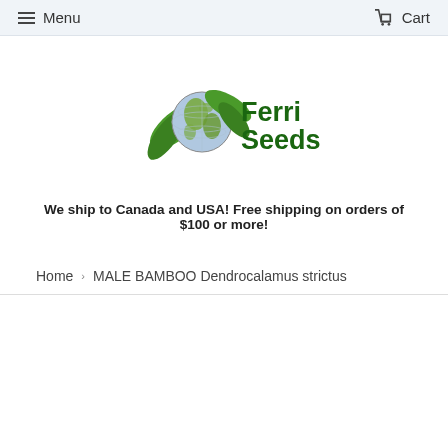Menu   Cart
[Figure (logo): Ferri Seeds logo: globe with green leaves and bold green text 'Ferri Seeds']
We ship to Canada and USA! Free shipping on orders of $100 or more!
Home > MALE BAMBOO Dendrocalamus strictus